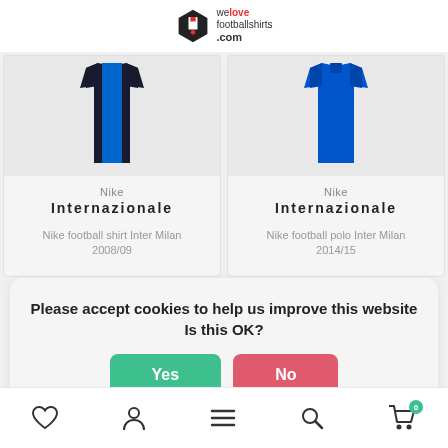welovefootballshirts.com
[Figure (photo): Nike Inter Milan 2008/09 football shirt product image (blue and black stripes)]
Nike
Internazionale
Nike football shirt Inter Milan 2008/09
[Figure (photo): Nike Inter Milan 2014/15 football polo product image (blue)]
Nike
Internazionale
Nike football polo Inter Milan 2014/15
Please accept cookies to help us improve this website Is this OK?
Yes
No
More on cookies »
Heart / Account / Menu / Search / Cart (0)